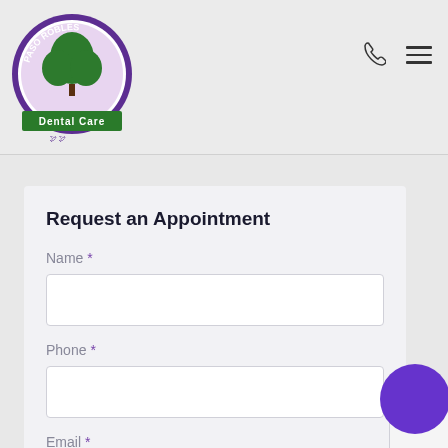[Figure (logo): Paso Robles Dental Care circular logo with green tree and purple border, with 'Dental Care' text on green banner]
Request an Appointment
Name *
Phone *
Email *